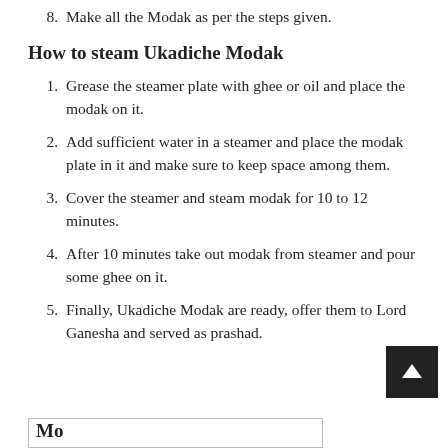8. Make all the Modak as per the steps given.
How to steam Ukadiche Modak
1. Grease the steamer plate with ghee or oil and place the modak on it.
2. Add sufficient water in a steamer and place the modak plate in it and make sure to keep space among them.
3. Cover the steamer and steam modak for 10 to 12 minutes.
4. After 10 minutes take out modak from steamer and pour some ghee on it.
5. Finally, Ukadiche Modak are ready, offer them to Lord Ganesha and served as prashad.